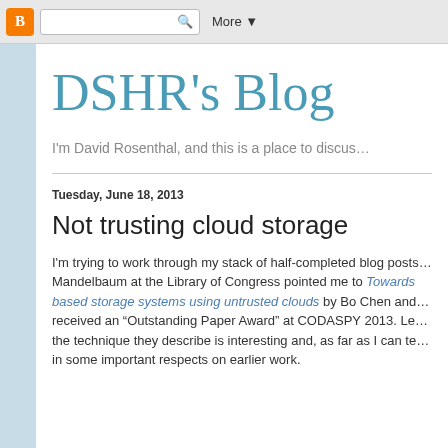[Figure (screenshot): Blogger browser chrome bar with orange Blogger icon, search box with magnifying glass icon, and More dropdown button]
DSHR's Blog
I'm David Rosenthal, and this is a place to discus…
Tuesday, June 18, 2013
Not trusting cloud storage
I'm trying to work through my stack of half-completed blog posts… Mandelbaum at the Library of Congress pointed me to Towards based storage systems using untrusted clouds by Bo Chen and received an "Outstanding Paper Award" at CODASPY 2013. Le… the technique they describe is interesting and, as far as I can te… in some important respects on earlier work.